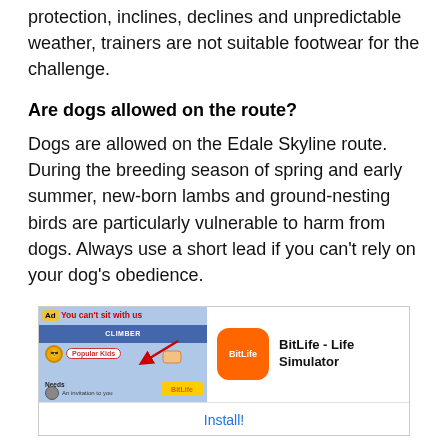protection, inclines, declines and unpredictable weather, trainers are not suitable footwear for the challenge.
Are dogs allowed on the route?
Dogs are allowed on the Edale Skyline route. During the breeding season of spring and early summer, new-born lambs and ground-nesting birds are particularly vulnerable to harm from dogs. Always use a short lead if you can’t rely on your dog’s obedience.
[Figure (other): Advertisement for BitLife - Life Simulator app with Install button]